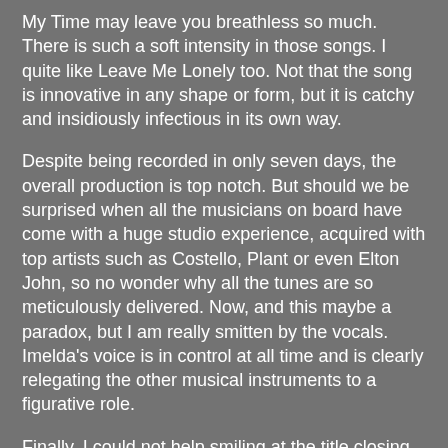My Time may leave you breathless so much. There is such a soft intensity in those songs. I quite like Leave Me Lonely too. Not that the song is innovative in any shape or form, but it is catchy and insidiously infectious in its own way.
Despite being recorded in only seven days, the overall production is top notch. But should we be surprised when all the musicians on board have come with a huge studio experience, acquired with top artists such as Costello, Plant or even Elton John, so no wonder why all the tunes are so meticulously delivered. Now, and this maybe a paradox, but I am really smitten by the vocals. Imelda's voice is in control at all time and is clearly relegating the other musical instruments to a figurative role.
Finally, I could not help smiling at the title closing the album: The Girl I Used to Be. So, paraphrasing Imelda's lyrics I would say that once upon a time there was a Dublin girl whose hairdo and music was very popular and then one day it became stellar.
Overall: When a surprise is surprise.